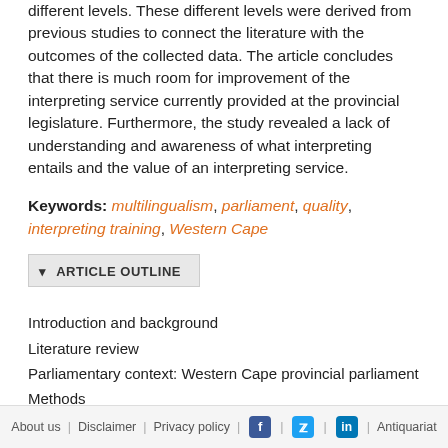different levels. These different levels were derived from previous studies to connect the literature with the outcomes of the collected data. The article concludes that there is much room for improvement of the interpreting service currently provided at the provincial legislature. Furthermore, the study revealed a lack of understanding and awareness of what interpreting entails and the value of an interpreting service.
Keywords: multilingualism, parliament, quality, interpreting training, Western Cape
▾ ARTICLE OUTLINE
Introduction and background
Literature review
Parliamentary context: Western Cape provincial parliament
Methods
Interviews
Interviews with interpreters
About us | Disclaimer | Privacy policy | [Facebook] | [Twitter] | [LinkedIn] | Antiquariat